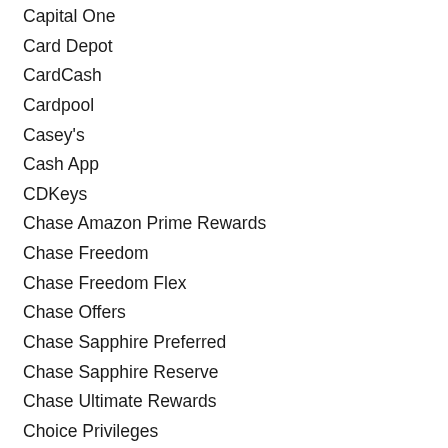Capital One
Card Depot
CardCash
Cardpool
Casey's
Cash App
CDKeys
Chase Amazon Prime Rewards
Chase Freedom
Chase Freedom Flex
Chase Offers
Chase Sapphire Preferred
Chase Sapphire Reserve
Chase Ultimate Rewards
Choice Privileges
Circle K
Citi Dividend
Citi Offers